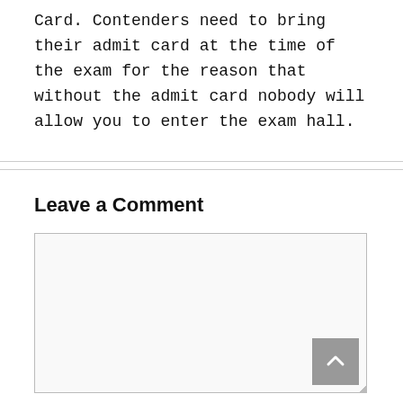Card. Contenders need to bring their admit card at the time of the exam for the reason that without the admit card nobody will allow you to enter the exam hall.
Leave a Comment